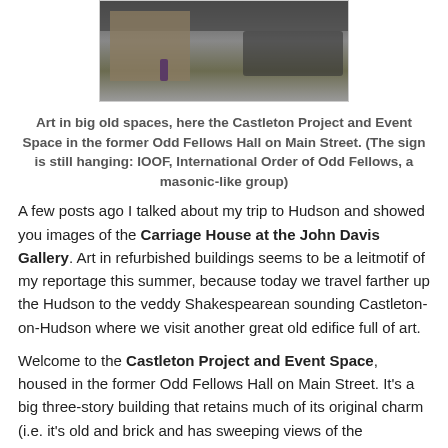[Figure (photo): Street-level photo of a brick building exterior with parked cars on the right and a person standing in the middle ground, taken outdoors on a sunny day.]
Art in big old spaces, here the Castleton Project and Event Space in the former Odd Fellows Hall on Main Street. (The sign is still hanging: IOOF, International Order of Odd Fellows, a masonic-like group)
A few posts ago I talked about my trip to Hudson and showed you images of the Carriage House at the John Davis Gallery. Art in refurbished buildings seems to be a leitmotif of my reportage this summer, because today we travel farther up the Hudson to the veddy Shakespearean sounding Castleton-on-Hudson where we visit another great old edifice full of art.
Welcome to the Castleton Project and Event Space, housed in the former Odd Fellows Hall on Main Street. It's a big three-story building that retains much of its original charm (i.e. it's old and brick and has sweeping views of the